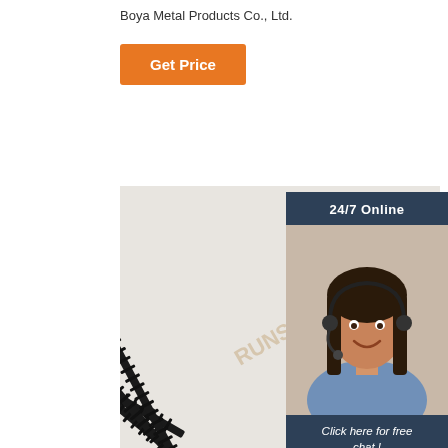Boya Metal Products Co., Ltd.
[Figure (other): Orange button labeled Get Price]
[Figure (photo): Black phosphated drywall screws, four screws fanned out showing coarse thread and bugle head, with watermark text]
[Figure (photo): 24/7 Online chat widget with woman wearing headset, Click here for free chat text, and orange QUOTATION button]